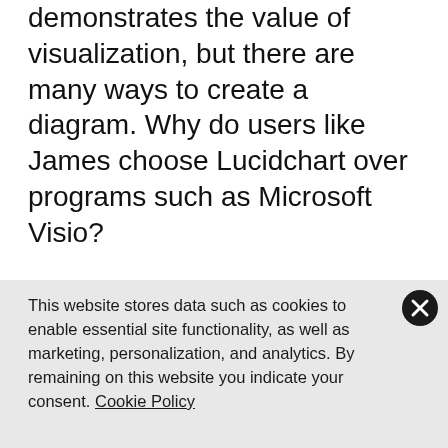demonstrates the value of visualization, but there are many ways to create a diagram. Why do users like James choose Lucidchart over programs such as Microsoft Visio?
One word: It’s cloud-based.
The omnipresent browser-based access of Lucidchart enables users to have constant access to their diagrams. The mobile app makes Lucidchart even more available for James as he often
This website stores data such as cookies to enable essential site functionality, as well as marketing, personalization, and analytics. By remaining on this website you indicate your consent. Cookie Policy